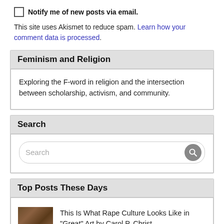Notify me of new posts via email.
This site uses Akismet to reduce spam. Learn how your comment data is processed.
Feminism and Religion
Exploring the F-word in religion and the intersection between scholarship, activism, and community.
Search
Top Posts These Days
This Is What Rape Culture Looks Like in "Great" Art by Carol P. Christ